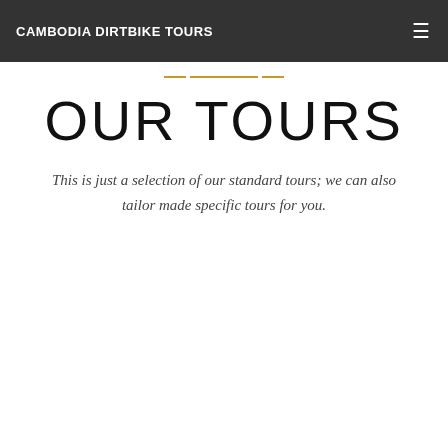CAMBODIA DIRTBIKE TOURS
OUR TOURS
This is just a selection of our standard tours; we can also tailor made specific tours for you.